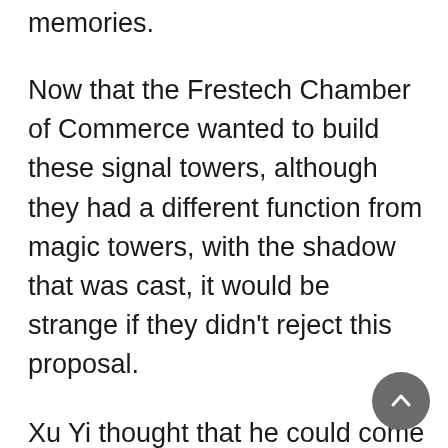memories.
Now that the Frestech Chamber of Commerce wanted to build these signal towers, although they had a different function from magic towers, with the shadow that was cast, it would be strange if they didn't reject this proposal.
Xu Yi thought that he could come up with a solution after learning of their worries, but now he didn't know whether to laugh or cry.
“Is there a mistake! The magic signal towers are completely different from the magic towers, alright? Aren’t they being too scared?”